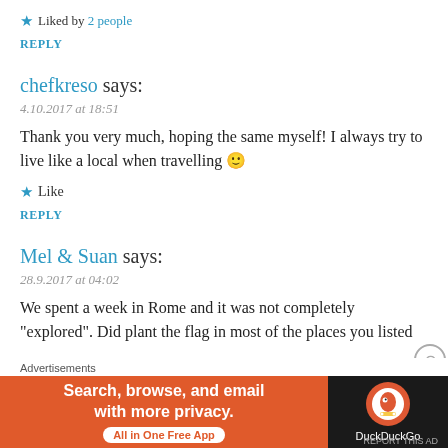★ Liked by 2 people
REPLY
chefkreso says:
4.10.2017 at 18:51
Thank you very much, hoping the same myself! I always try to live like a local when travelling 🙂
★ Like
REPLY
Mel & Suan says:
28.9.2017 at 04:02
We spent a week in Rome and it was not completely "explored". Did plant the flag in most of the places you listed
Advertisements
[Figure (other): DuckDuckGo advertisement banner: Search, browse, and email with more privacy. All in One Free App.]